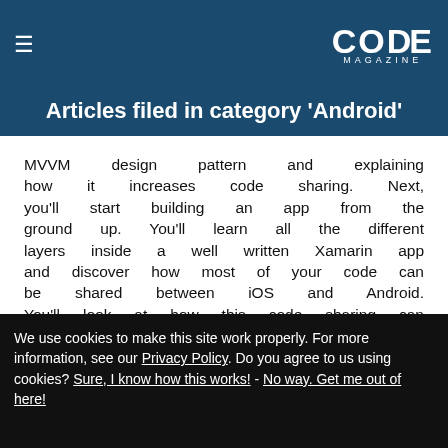CODE MAGAZINE
Articles filed in category 'Android'
MVVM design pattern and explaining how it increases code sharing. Next, you'll start building an app from the ground up. You'll learn all the different layers inside a well written Xamarin app and discover how most of your code can be shared between iOS and Android. You'll look at how this code sharing can be best designed to allow unit testing of your business layer as well as your UI
We use cookies to make this site work properly. For more information, see our Privacy Policy. Do you agree to us using cookies? Sure, I know how this works! - No way. Get me out of here!